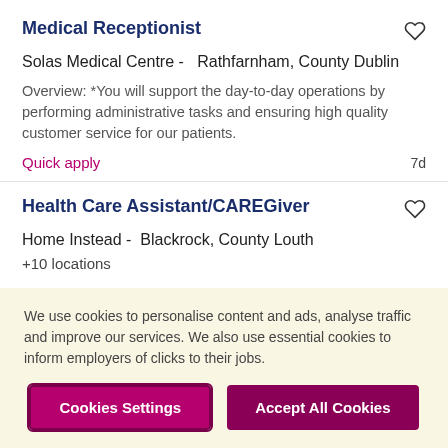Medical Receptionist
Solas Medical Centre - Rathfarnham, County Dublin
Overview: *You will support the day-to-day operations by performing administrative tasks and ensuring high quality customer service for our patients.
Quick apply   7d
Health Care Assistant/CAREGiver
Home Instead - Blackrock, County Louth
+10 locations
We use cookies to personalise content and ads, analyse traffic and improve our services. We also use essential cookies to inform employers of clicks to their jobs.